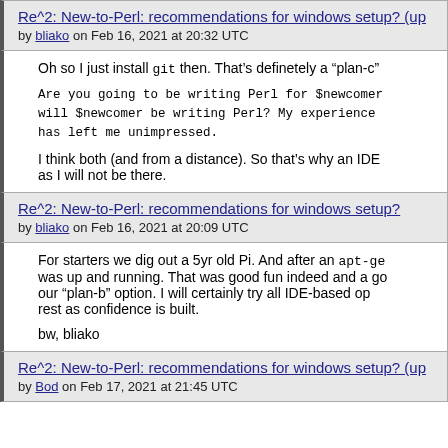Re^2: New-to-Perl: recommendations for windows setup? (up
by bliako on Feb 16, 2021 at 20:32 UTC
Oh so I just install git then. That's definetely a "plan-c"
Are you going to be writing Perl for $newcomer will $newcomer be writing Perl? My experience has left me unimpressed.
I think both (and from a distance). So that's why an IDE as I will not be there.
Re^2: New-to-Perl: recommendations for windows setup?
by bliako on Feb 16, 2021 at 20:09 UTC
For starters we dig out a 5yr old Pi. And after an apt-ge was up and running. That was good fun indeed and a go our "plan-b" option. I will certainly try all IDE-based op rest as confidence is built.
bw, bliako
Re^2: New-to-Perl: recommendations for windows setup? (up
by Bod on Feb 17, 2021 at 21:45 UTC